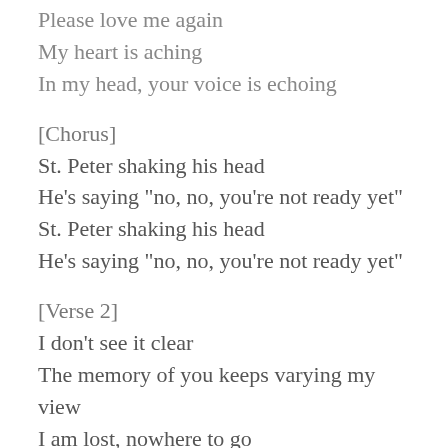Please love me again
My heart is aching
In my head, your voice is echoing
[Chorus]
St. Peter shaking his head
He's saying "no, no, you're not ready yet"
St. Peter shaking his head
He's saying "no, no, you're not ready yet"
[Verse 2]
I don't see it clear
The memory of you keeps varying my view
I am lost, nowhere to go
The mountains [?]